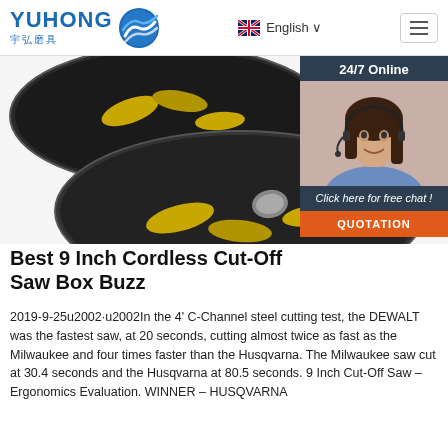[Figure (logo): YUHONG 宇弘磨具 logo with blue wave/globe icon]
[Figure (other): Navigation header with English language selector and hamburger menu]
[Figure (photo): Product photo of two dark grinding/cut-off discs with yellow markings, partially shown from above]
[Figure (photo): 24/7 Online chat widget with photo of woman wearing headset and buttons for free chat and quotation]
Best 9 Inch Cordless Cut-Off Saw Box Buzz
2019-9-25u2002·u2002In the 4' C-Channel steel cutting test, the DEWALT was the fastest saw, at 20 seconds, cutting almost twice as fast as the Milwaukee and four times faster than the Husqvarna. The Milwaukee saw cut at 30.4 seconds and the Husqvarna at 80.5 seconds. 9 Inch Cut-Off Saw – Ergonomics Evaluation. WINNER – HUSQVARNA